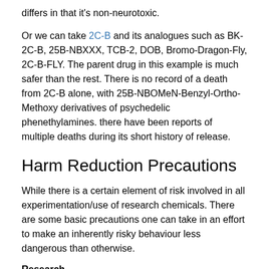differs in that it's non-neurotoxic.
Or we can take 2C-B and its analogues such as BK-2C-B, 25B-NBXXX, TCB-2, DOB, Bromo-Dragon-Fly, 2C-B-FLY. The parent drug in this example is much safer than the rest. There is no record of a death from 2C-B alone, with 25B-NBOMeN-Benzyl-Ortho-Methoxy derivatives of psychedelic phenethylamines. there have been reports of multiple deaths during its short history of release.
Harm Reduction Precautions
While there is a certain element of risk involved in all experimentation/use of research chemicals. There are some basic precautions one can take in an effort to make an inherently risky behaviour less dangerous than otherwise.
Research
While most readily available anecdotal information on research chemicals cannot be entirely trusted (due to the nature of